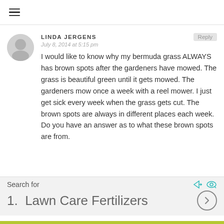≡
LINDA JERGENS
July 8, 2014 at 5:15 pm
I would like to know why my bermuda grass ALWAYS has brown spots after the gardeners have mowed. The grass is beautiful green until it gets mowed. The gardeners mow once a week with a reel mower. I just get sick every week when the grass gets cut. The brown spots are always in different places each week. Do you have an answer as to what these brown spots are from.
Search for
1.  Lawn Care Fertilizers